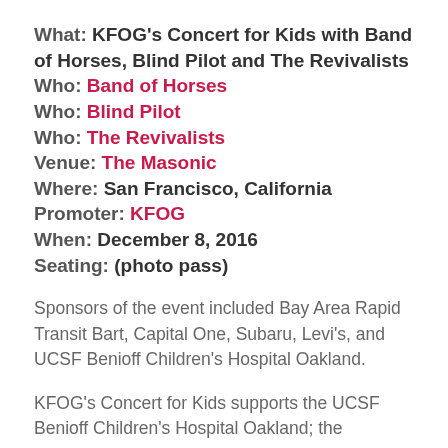What: KFOG's Concert for Kids with Band of Horses, Blind Pilot and The Revivalists
Who: Band of Horses
Who: Blind Pilot
Who: The Revivalists
Venue: The Masonic
Where: San Francisco, California
Promoter: KFOG
When: December 8, 2016
Seating: (photo pass)
Sponsors of the event included Bay Area Rapid Transit Bart, Capital One, Subaru, Levi's, and UCSF Benioff Children's Hospital Oakland.
KFOG's Concert for Kids supports the UCSF Benioff Children's Hospital Oakland; the